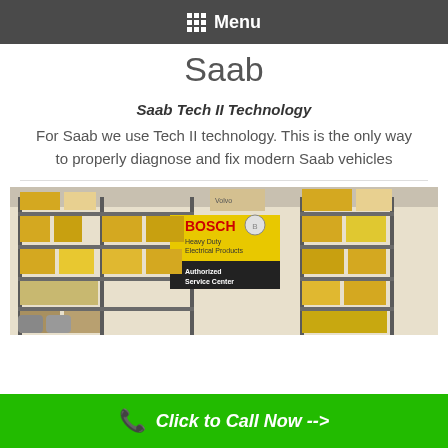Menu
Saab
Saab Tech II Technology
For Saab we use Tech II technology. This is the only way to properly diagnose and fix modern Saab vehicles
[Figure (photo): Warehouse shelving with Bosch Heavy Duty Electrical Products boxes and an Authorized Service Center sign]
Click to Call Now -->